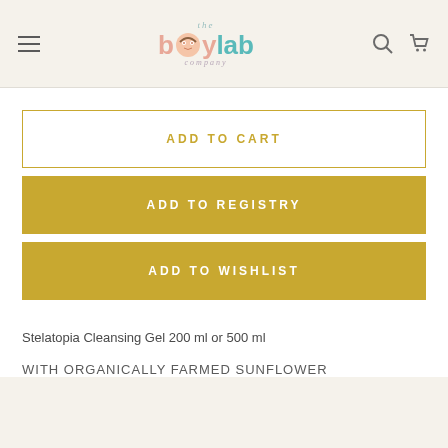[Figure (logo): The Baby Lab Company logo with colorful text and baby illustration]
ADD TO CART
ADD TO REGISTRY
ADD TO WISHLIST
Stelatopia Cleansing Gel 200 ml or 500 ml
WITH ORGANICALLY FARMED SUNFLOWER